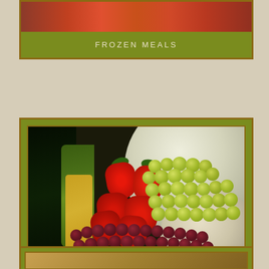[Figure (photo): Partially visible top card showing a food photo (red/orange colored food dish, likely a casserole or baked dish) with a green label band below it]
FROZEN MEALS
[Figure (photo): A large fruit display photo showing a pineapple on the left, strawberries in the center-left, green grapes in the center-right, dark red grapes at the bottom, and large melons in the background]
SPECIALTY ITEMS
[Figure (photo): Partially visible bottom card with a food photo, cut off at bottom of page]